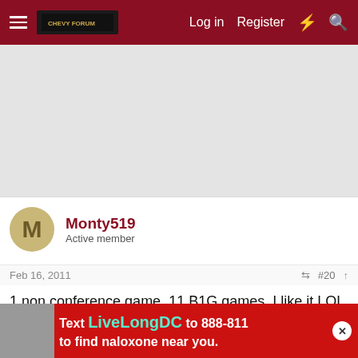Log in  Register
[Figure (screenshot): Grey advertisement area]
Monty519
Active member
Feb 16, 2011  #20
1 non conference game, 11 B1G games. I like it LOL
howeda7
Well-known member
[Figure (screenshot): Advertisement banner: Text LiveLongDC to 888-811 to find naloxone near you.]